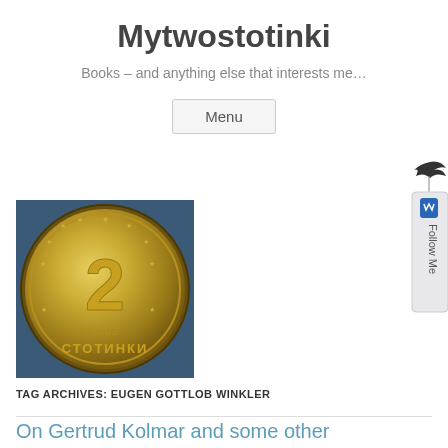Mytwostotinki
Books – and anything else that interests me…
Menu
[Figure (photo): A Bulgarian 2 stotinki coin from 2002, gold-colored, showing the numeral 2 and the Cyrillic text СТОТИНКИ, surrounded by stars]
TAG ARCHIVES: EUGEN GOTTLOB WINKLER
On Gertrud Kolmar and some other